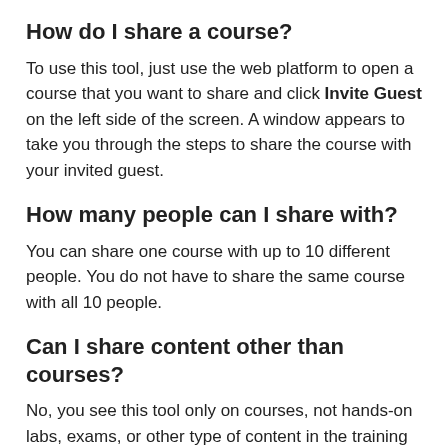How do I share a course?
To use this tool, just use the web platform to open a course that you want to share and click Invite Guest on the left side of the screen. A window appears to take you through the steps to share the course with your invited guest.
How many people can I share with?
You can share one course with up to 10 different people. You do not have to share the same course with all 10 people.
Can I share content other than courses?
No, you see this tool only on courses, not hands-on labs, exams, or other type of content in the training library.
Are there any limitations on what the invitee can do?